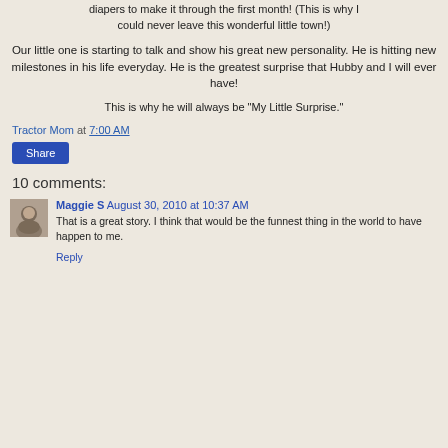diapers to make it through the first month! (This is why I could never leave this wonderful little town!)
Our little one is starting to talk and show his great new personality. He is hitting new milestones in his life everyday. He is the greatest surprise that Hubby and I will ever have!
This is why he will always be "My Little Surprise."
Tractor Mom at 7:00 AM
Share
10 comments:
Maggie S  August 30, 2010 at 10:37 AM
That is a great story. I think that would be the funnest thing in the world to have happen to me.
Reply